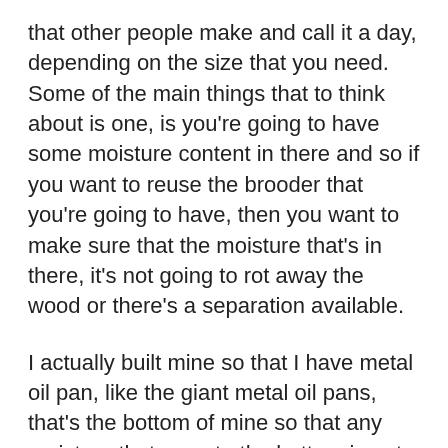that other people make and call it a day, depending on the size that you need. Some of the main things that to think about is one, is you're going to have some moisture content in there and so if you want to reuse the brooder that you're going to have, then you want to make sure that the moisture that's in there, it's not going to rot away the wood or there's a separation available.
I actually built mine so that I have metal oil pan, like the giant metal oil pans, that's the bottom of mine so that any moisture that goes to the bottom is not going to rot out the wood that's there and I can just slide them out, clean them up, slide them back in for the next year and they're good to go. The only thing I have to worry about is the wood on the sides of the